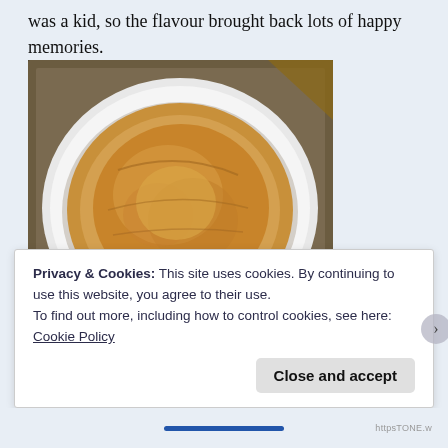was a kid, so the flavour brought back lots of happy memories.
[Figure (photo): A baked pie with golden-brown pastry crust in a white ceramic scalloped pie dish, sitting on a metal baking sheet. View from above.]
Privacy & Cookies: This site uses cookies. By continuing to use this website, you agree to their use.
To find out more, including how to control cookies, see here: Cookie Policy
Close and accept